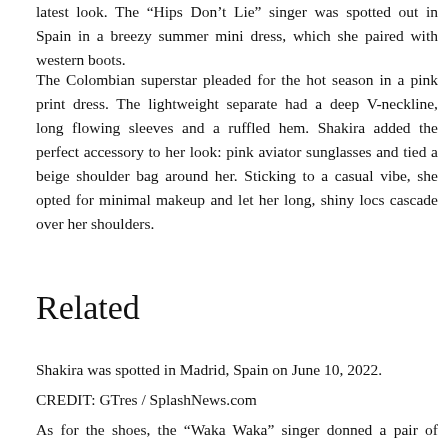latest look. The “Hips Don’t Lie” singer was spotted out in Spain in a breezy summer mini dress, which she paired with western boots.
The Colombian superstar pleaded for the hot season in a pink print dress. The lightweight separate had a deep V-neckline, long flowing sleeves and a ruffled hem. Shakira added the perfect accessory to her look: pink aviator sunglasses and tied a beige shoulder bag around her. Sticking to a casual vibe, she opted for minimal makeup and let her long, shiny locs cascade over her shoulders.
Related
Shakira was spotted in Madrid, Spain on June 10, 2022.
CREDIT: GTres / SplashNews.com
As for the shoes, the “Waka Waka” singer donned a pair of brown western boots. The color also helped to balance the brown accessories that she had...